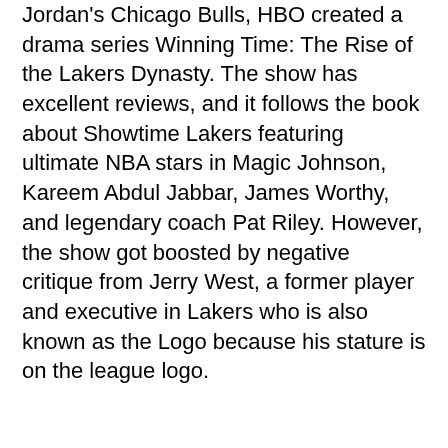Jordan's Chicago Bulls, HBO created a drama series Winning Time: The Rise of the Lakers Dynasty. The show has excellent reviews, and it follows the book about Showtime Lakers featuring ultimate NBA stars in Magic Johnson, Kareem Abdul Jabbar, James Worthy, and legendary coach Pat Riley. However, the show got boosted by negative critique from Jerry West, a former player and executive in Lakers who is also known as the Logo because his stature is on the league logo.